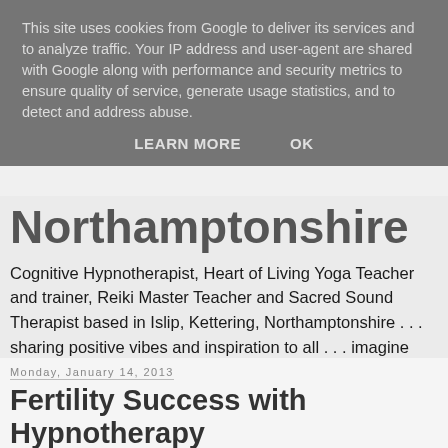This site uses cookies from Google to deliver its services and to analyze traffic. Your IP address and user-agent are shared with Google along with performance and security metrics to ensure quality of service, generate usage statistics, and to detect and address abuse.
LEARN MORE   OK
Northamptonshire
Cognitive Hypnotherapist, Heart of Living Yoga Teacher and trainer, Reiki Master Teacher and Sacred Sound Therapist based in Islip, Kettering, Northamptonshire . . . sharing positive vibes and inspiration to all . . . imagine creating the life you would love to have . . . and living it!
Monday, January 14, 2013
Fertility Success with Hypnotherapy
There's a great article in today's Daily Mail about a fertility success story, where a lady contacted Paul McKenna after